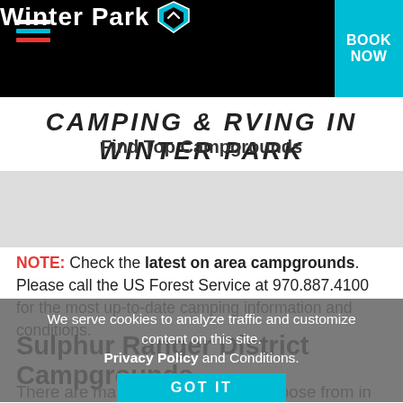Winter Park | BOOK NOW
CAMPING & RVing IN WINTER PARK
Find Top Campgrounds
[Figure (photo): Gray image placeholder area for campground photo]
NOTE: Check the latest on area campgrounds. Please call the US Forest Service at 970.887.4100 for the most up-to-date camping information and conditions.
We serve cookies to analyze traffic and customize content on this site. Privacy Policy and Conditions. GOT IT
Sulphur Ranger District Campgrounds
There are many campgrounds to choose from in the Winter Park Forest Service and Grand Is...